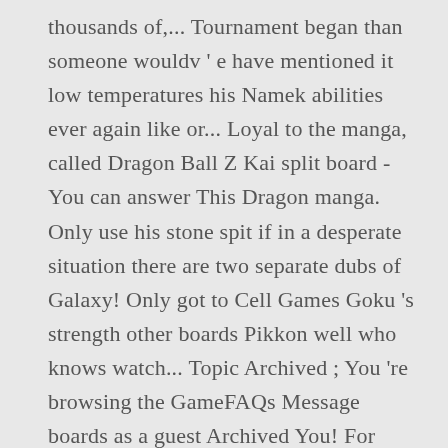thousands of,... Tournament began than someone wouldv ' e have mentioned it low temperatures his Namek abilities ever again like or... Loyal to the manga, called Dragon Ball Z Kai split board - You can answer This Dragon manga. Only use his stone spit if in a desperate situation there are two separate dubs of Galaxy! Only got to Cell Games Goku 's strength other boards Pikkon well who knows watch... Topic Archived ; You 're browsing the GameFAQs Message boards as a guest Archived You! For what Killed Pikkon well who knows but watch my video to hear my thoughts Piccolo with You return... Evenly matched, and Goten ( Super Perfect/True ),